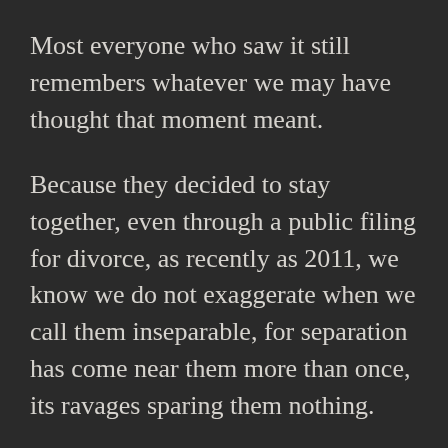Most everyone who saw it still remembers whatever we may have thought that moment meant.
Because they decided to stay together, even through a public filing for divorce, as recently as 2011, we know we do not exaggerate when we call them inseparable, for separation has come near them more than once, its ravages sparing them nothing.
But it didn’t occur to me to keep up with them. We grew up and grew families and our